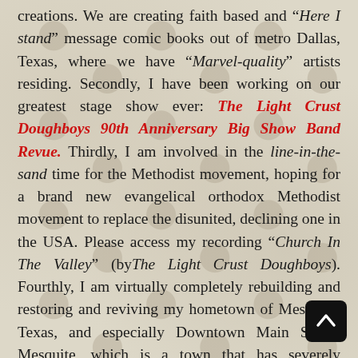creations. We are creating faith based and "Here I stand" message comic books out of metro Dallas, Texas, where we have "Marvel-quality" artists residing. Secondly, I have been working on our greatest stage show ever: The Light Crust Doughboys 90th Anniversary Big Show Band Revue. Thirdly, I am involved in the line-in-the-sand time for the Methodist movement, hoping for a brand new evangelical orthodox Methodist movement to replace the disunited, declining one in the USA. Please access my recording "Church In The Valley" (by The Light Crust Doughboys). Fourthly, I am virtually completely rebuilding and restoring and reviving my hometown of Mesquite, Texas, and especially Downtown Main Street, Mesquite, which is a town that has severely declined spiritually, socially, culturally and economically from my childhood days (as have many